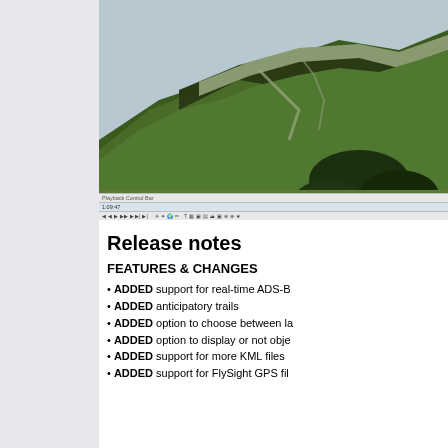[Figure (screenshot): 3D terrain view showing mountainous landscape with green hills and rocky ridges, rendered in a flight simulation or mapping application. Below the terrain view is a toolbar area with 'Playback Control Bar' label and playback controls.]
Release notes
FEATURES & CHANGES
ADDED support for real-time ADS-B
ADDED anticipatory trails
ADDED option to choose between la
ADDED option to display or not obje
ADDED support for more KML files
ADDED support for FlySight GPS fil